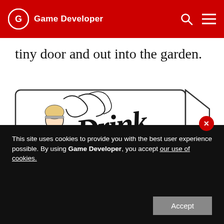Game Developer
tiny door and out into the garden.
[Figure (illustration): A vintage-style tag/label illustration with Alice (from Alice in Wonderland) on the left side and decorative script text reading 'Drink Me' on the tag, with an oval hole at the top right of the tag.]
This site uses cookies to provide you with the best user experience possible. By using Game Developer, you accept our use of cookies.